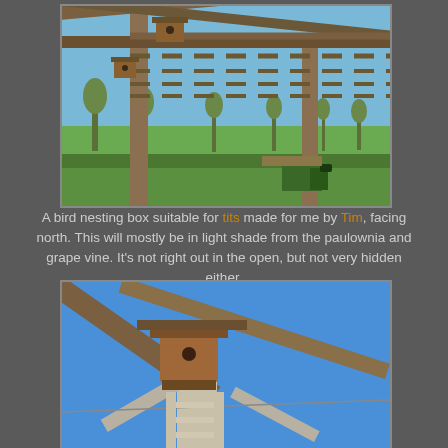[Figure (photo): A bird nesting box mounted on a wooden pergola structure with beams and posts, against a blue sky, with green fields and trees in the background.]
A bird nesting box suitable for tits made for me by Tim, facing north. This will mostly be in light shade from the paulownia and grape vine. It's not right out in the open, but not very hidden either.
[Figure (photo): Close-up view from below of a wooden bird nesting box mounted on a pergola post, with diagonal beams crossing against a blue sky, and a ladder visible below.]